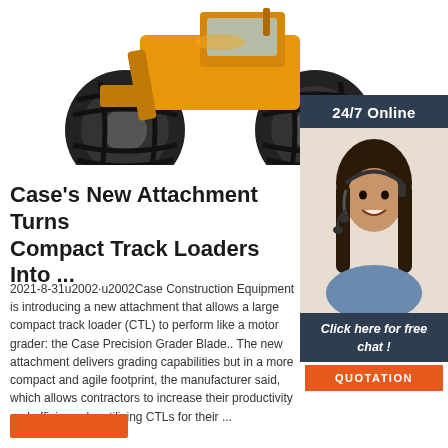[Figure (photo): Yellow compact track loader / wheel loader construction machine photographed against white background]
[Figure (photo): 24/7 Online customer service banner with photo of smiling woman with headset, dark navy background, with 'Click here for free chat!' text and orange QUOTATION button]
Case's New Attachment Turns Compact Track Loaders Into ...
2021-8-31u2002·u2002Case Construction Equipment is introducing a new attachment that allows a large compact track loader (CTL) to perform like a motor grader: the Case Precision Grader Blade.. The new attachment delivers grading capabilities but in a more compact and agile footprint, the manufacturer said, which allows contractors to increase their productivity and efficiency by utilizing CTLs for their ...
[Figure (other): Orange read more button at bottom left]